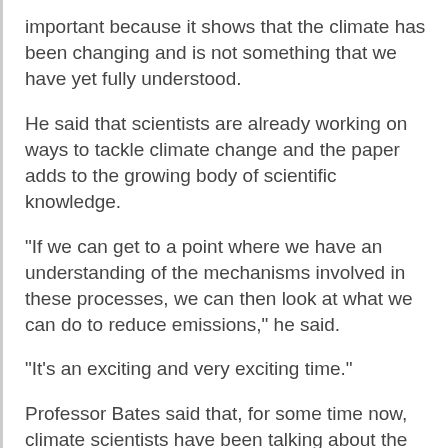important because it shows that the climate has been changing and is not something that we have yet fully understood.
He said that scientists are already working on ways to tackle climate change and the paper adds to the growing body of scientific knowledge.
“If we can get to a point where we have an understanding of the mechanisms involved in these processes, we can then look at what we can do to reduce emissions,” he said.
“It’s an exciting and very exciting time.”
Professor Bates said that, for some time now, climate scientists have been talking about the possibility of an “epidemic” in terms of climate extremes.